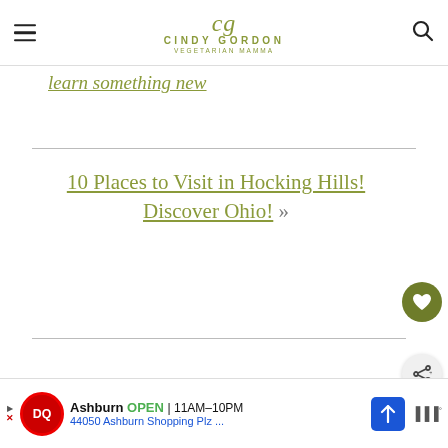Cindy Gordon — Vegetarian Mamma
learn something new
10 Places to Visit in Hocking Hills! Discover Ohio! »
[Figure (other): Heart/favorite button — circular olive green button with heart icon]
[Figure (other): Share button — circular light gray button with share icon]
[Figure (other): What's Next card showing Tofu Recipes with thumbnail]
[Figure (other): Ad banner for Dairy Queen Ashburn location: OPEN 11AM-10PM, 44050 Ashburn Shopping Plz ...]